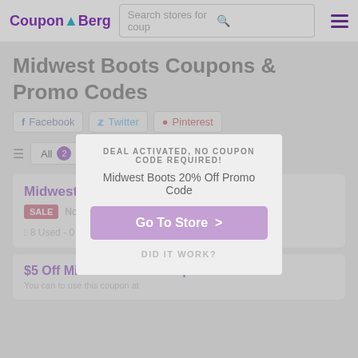CouponABerg | Search stores for coup
Midwest Boots Coupons & Promo Codes
Facebook  Twitter  Pinterest
All  2
[Figure (screenshot): Modal popup showing 'Midwest Boots 20% Off Promo Code' with 'DEAL ACTIVATED, NO COUPON CODE REQUIRED!' label, 'Go To Store >' button in purple, and 'DID IT WORK?' text]
Midwest Boots 20% Off Promo Code
SALE  No Expires
8 Used - 0 Today
$5 Off Midwest Boots Coupon Code